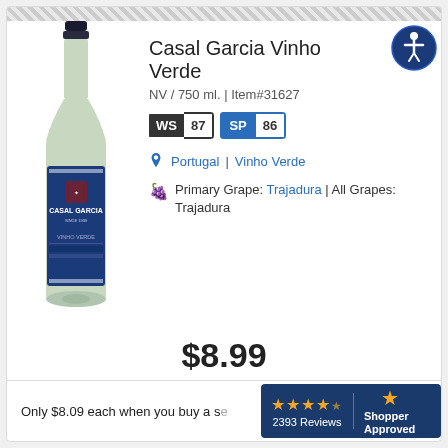[Figure (photo): Bottle of Casal Garcia Vinho Verde white wine with dark blue label]
Casal Garcia Vinho Verde
NV / 750 ml. | Item#31627
WS 87 | SP 86
Portugal | Vinho Verde
Primary Grape: Trajadura | All Grapes: Trajadura
$8.99
Only $8.09 each when you buy a se...
2393 Reviews | Shopper Approved